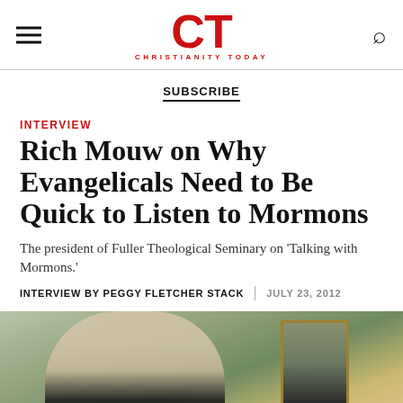CT CHRISTIANITY TODAY
SUBSCRIBE
INTERVIEW
Rich Mouw on Why Evangelicals Need to Be Quick to Listen to Mormons
The president of Fuller Theological Seminary on 'Talking with Mormons.'
INTERVIEW BY PEGGY FLETCHER STACK  |  JULY 23, 2012
[Figure (photo): Elderly man with glasses smiling, seated indoors with a framed portrait painting on the green wall behind him]